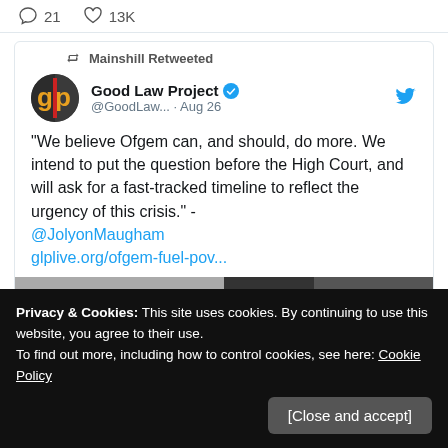21  13K
Mainshill Retweeted
Good Law Project @GoodLaw... · Aug 26
"We believe Ofgem can, and should, do more. We intend to put the question before the High Court, and will ask for a fast-tracked timeline to reflect the urgency of this crisis." - @JolyonMaugham glplive.org/ofgem-fuel-pov...
[Figure (photo): Partial photo visible at bottom of tweet]
Privacy & Cookies: This site uses cookies. By continuing to use this website, you agree to their use.
To find out more, including how to control cookies, see here: Cookie Policy
[Close and accept]